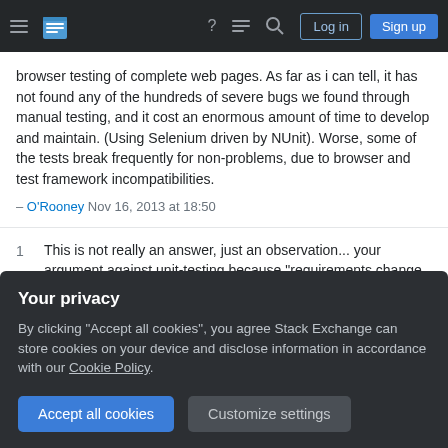Stack Exchange navigation bar with hamburger menu, logo, help, chat, search, Log in, Sign up
browser testing of complete web pages. As far as i can tell, it has not found any of the hundreds of severe bugs we found through manual testing, and it cost an enormous amount of time to develop and maintain. (Using Selenium driven by NUnit). Worse, some of the tests break frequently for non-problems, due to browser and test framework incompatibilities.
– O'Rooney Nov 16, 2013 at 18:50
1 This is not really an answer, just an observation... your argument against unit-testing because "requirements change too frequently" reminds me of the inverse argument I hear where I work: "our programs are so static, what's the point of testing it? It almost never
Your privacy
By clicking "Accept all cookies", you agree Stack Exchange can store cookies on your device and disclose information in accordance with our Cookie Policy.
Accept all cookies  Customize settings